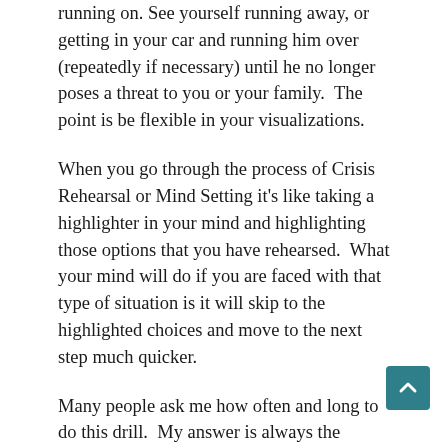running on. See yourself running away, or getting in your car and running him over (repeatedly if necessary) until he no longer poses a threat to you or your family.  The point is be flexible in your visualizations.
When you go through the process of Crisis Rehearsal or Mind Setting it's like taking a highlighter in your mind and highlighting those options that you have rehearsed.  What your mind will do if you are faced with that type of situation is it will skip to the highlighted choices and move to the next step much quicker.
Many people ask me how often and long to do this drill.  My answer is always the same.  “It's up to you”.  The more you do this (within reason) the better prepared you will be.  A good suggestion would be to do it a time or two each week for about 5 minutes each